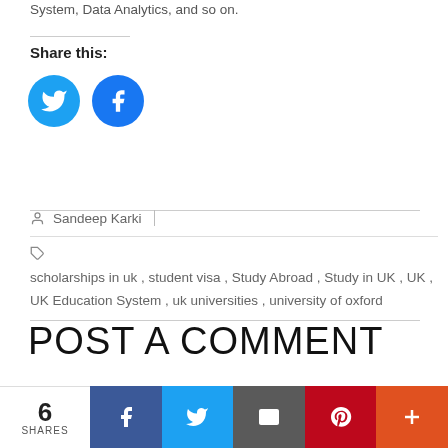System, Data Analytics, and so on.
Share this:
[Figure (other): Twitter and Facebook social share buttons (circular blue icons)]
Sandeep Karki
scholarships in uk, student visa, Study Abroad, Study in UK, UK, UK Education System, uk universities, university of oxford
POST A COMMENT
Your email address will not be published. Fields marked with * are required.
6 SHARES | Facebook | Twitter | Email | Pinterest | More